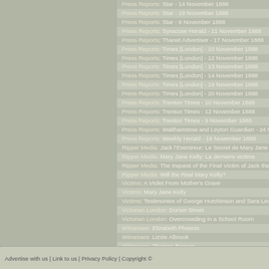Press Reports: Star - 14 November 1888
Press Reports: Star - 19 November 1888
Press Reports: Star - 9 November 1888
Press Reports: Syracuse Herald - 11 November 1888
Press Reports: Thanet Advertiser - 17 November 1888
Press Reports: Times [London] - 10 November 1888
Press Reports: Times [London] - 12 November 1888
Press Reports: Times [London] - 13 November 1888
Press Reports: Times [London] - 14 November 1888
Press Reports: Times [London] - 19 November 1888
Press Reports: Times [London] - 20 November 1888
Press Reports: Trenton Times - 10 November 1888
Press Reports: Trenton Times - 12 November 1888
Press Reports: Trenton Times - 9 November 1888
Press Reports: Walthamstow and Leyton Guardian - 24 No...
Press Reports: Weekly Herald - 16 November 1888
Ripper Media: Jack l'Eventreur: Le Secret de Mary Jane K...
Ripper Media: Mary Jane Kelly: La derniere victime
Ripper Media: The Inquest of the Final Victim of Jack the ...
Ripper Media: Will the Real Mary Kelly?
Victims: A Violet From Mother's Grave
Victims: Mary Jane Kelly
Victims: Testimonies of George Hutchinson and Sara Lewi...
Victorian London: Dorset Street
Victorian London: Overcrowding in a School Room
Witnesses: Elizabeth Phoenix
Witnesses: Lizzie Albrook
Witnesses: Thomas Bowyer
Witnesses: Walter Beck
Advertise with us | Link to us | Privacy Policy | Copyright ©...